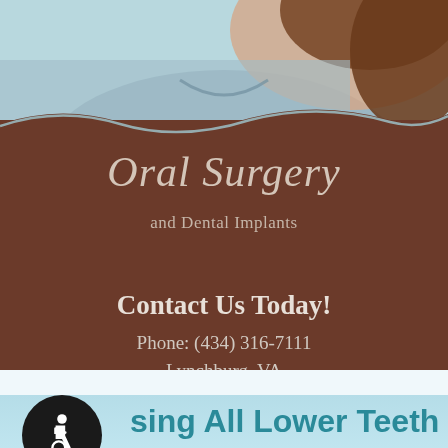[Figure (photo): Photo of a woman with brown hair in the top section background, partially visible, with teal/blue and brown tones]
Oral Surgery
and Dental Implants
Contact Us Today!
Phone: (434) 316-7111
Lynchburg, VA
Home / Procedures / Dental Implants / Missing All Lower Teeth
Missing All Lower Teeth